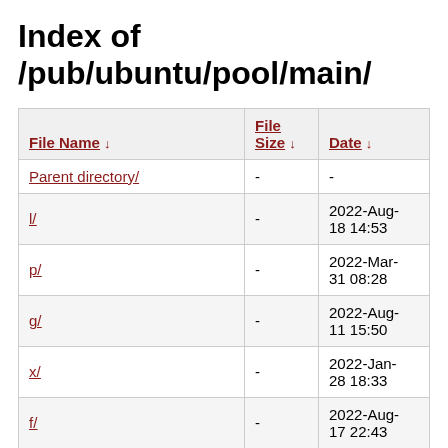Index of /pub/ubuntu/pool/main/
| File Name ↓ | File Size ↓ | Date ↓ |
| --- | --- | --- |
| Parent directory/ | - | - |
| l/ | - | 2022-Aug-18 14:53 |
| p/ | - | 2022-Mar-31 08:28 |
| g/ | - | 2022-Aug-11 15:50 |
| x/ | - | 2022-Jan-28 18:33 |
| f/ | - | 2022-Aug-17 22:43 |
| o/ | - | 2022-Jul-20 12:17 |
| ? | - | 2022-Jul-24 |